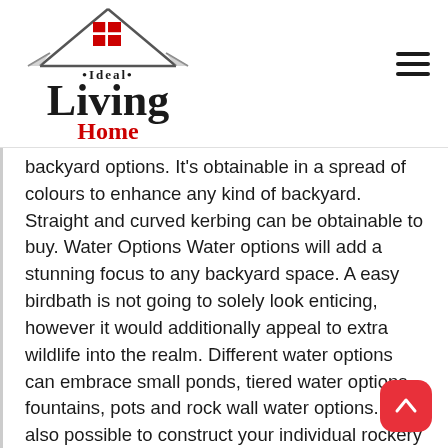[Figure (logo): Ideal Living Home logo with a house graphic (roof/gable outline with a red 2x2 window grid), text '•Ideal•' in serif, 'Living' in large serif, 'Home' in red serif below]
backyard options. It's obtainable in a spread of colours to enhance any kind of backyard. Straight and curved kerbing can be obtainable to buy. Water Options Water options will add a stunning focus to any backyard space. A easy birdbath is not going to solely look enticing, however it would additionally appeal to extra wildlife into the realm. Different water options can embrace small ponds, tiered water options, fountains, pots and rock wall water options. It's also possible to construct your individual rockery at residence. Have you ever ever thoug